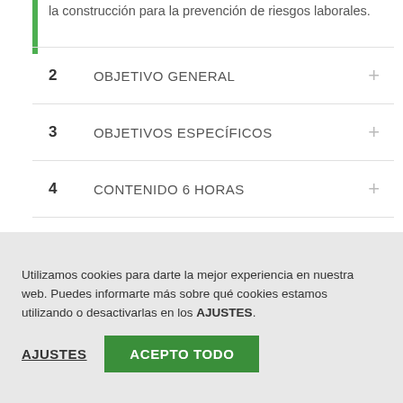la construcción para la prevención de riesgos laborales.
2   OBJETIVO GENERAL
3   OBJETIVOS ESPECÍFICOS
4   CONTENIDO 6 HORAS
5   METODOLOGÍA
Utilizamos cookies para darte la mejor experiencia en nuestra web. Puedes informarte más sobre qué cookies estamos utilizando o desactivarlas en los AJUSTES.